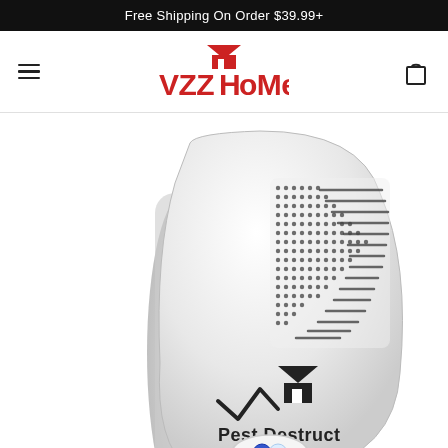Free Shipping On Order $39.99+
[Figure (logo): VZZHome brand logo with red house roof icon above stylized red text 'VZZHome']
[Figure (photo): White Pest Destruct ultrasonic pest repeller device, wall-plug style, showing speaker grille with dot/line pattern and Pest Destruct logo with house icon]